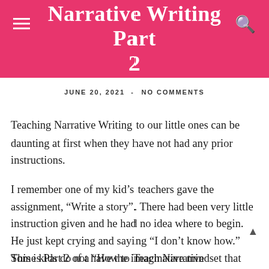Narrative Writing Part 2
JUNE 20, 2021  -  NO COMMENTS
Teaching Narrative Writing to our little ones can be daunting at first when they have not had any prior instructions.
I remember one of my kid’s teachers gave the assignment, “Write a story”. There had been very little instruction given and he had no idea where to begin. He just kept crying and saying “I don’t know how.” Some kids do not have the imaginative mindset that others do and need to be taught how to get into that place.
This is Part 2 of a “How to Teach Narrative